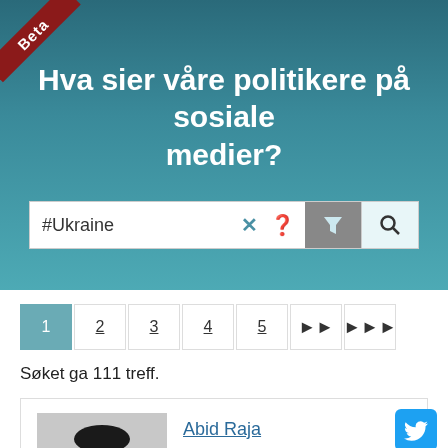Hva sier våre politikere på sosiale medier?
#Ukraine
Søket ga 111 treff.
Abid Raja
2022-08-19 08:27:00